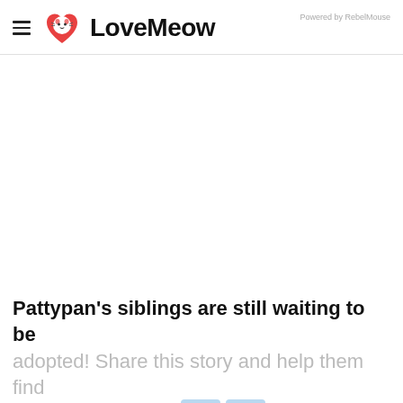LoveMeow — Powered by RebelMouse
[Figure (other): Blank white advertisement/image space]
Pattypan's siblings are still waiting to be adopted! Share this story and help them find their forever home